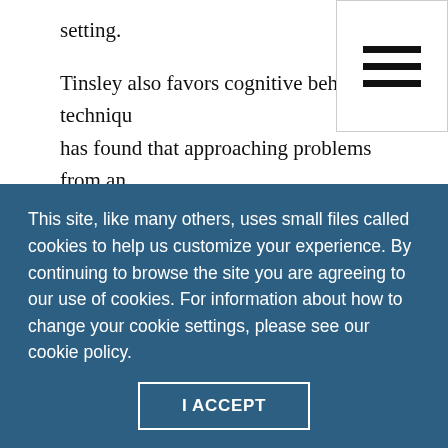setting.
Tinsley also favors cognitive behavior techniques and has found that approaching problems from an existential perspective works well with athletes.
On the plus side, many athletes are familiar with the process of working with health professionals such as trainers and physicians, so they may be more open than other client populations to the idea of creating
This site, like many others, uses small files called cookies to help us customize your experience. By continuing to browse the site you are agreeing to our use of cookies. For information about how to change your cookie settings, please see our cookie policy.
I ACCEPT